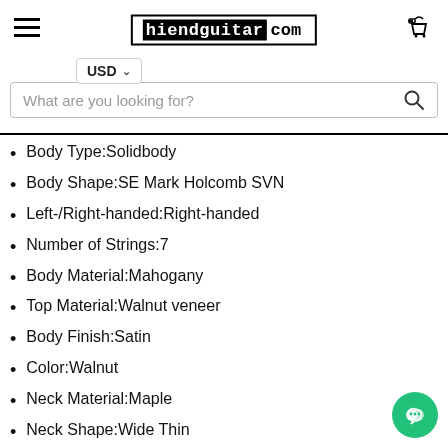hiendguitar.com
Body Type:Solidbody
Body Shape:SE Mark Holcomb SVN
Left-/Right-handed:Right-handed
Number of Strings:7
Body Material:Mahogany
Top Material:Walnut veneer
Body Finish:Satin
Color:Walnut
Neck Material:Maple
Neck Shape:Wide Thin
Radius:20"
Fingerboard Material:Ebony
Fingerboard Inlay:PRS Birds